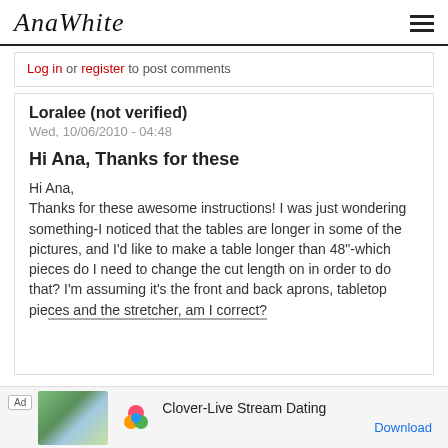AnaWhite
Log in or register to post comments
Loralee (not verified)
Wed, 10/06/2010 - 04:48
Hi Ana, Thanks for these
Hi Ana,
Thanks for these awesome instructions! I was just wondering something-I noticed that the tables are longer in some of the pictures, and I'd like to make a table longer than 48"-which pieces do I need to change the cut length on in order to do that? I'm assuming it's the front and back aprons, tabletop pieces and the stretcher, am I correct?
Ad  Clover-Live Stream Dating  Download